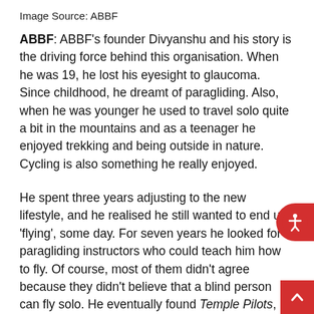Image Source: ABBF
ABBF: ABBF's founder Divyanshu and his story is the driving force behind this organisation. When he was 19, he lost his eyesight to glaucoma. Since childhood, he dreamt of paragliding. Also, when he was younger he used to travel solo quite a bit in the mountains and as a teenager he enjoyed trekking and being outside in nature. Cycling is also something he really enjoyed.
He spent three years adjusting to the new lifestyle, and he realised he still wanted to end up ‘flying’, some day. For seven years he looked for paragliding instructors who could teach him how to fly. Of course, most of them didn’t agree because they didn't believe that a blind person can fly solo. He eventually found Temple Pilots, who are into